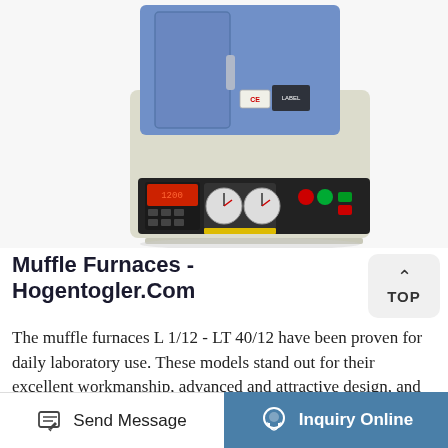[Figure (photo): A muffle furnace with blue upper chamber door and cream/beige control panel at front, showing temperature controller, analog gauges, and colored buttons (red, green).]
Muffle Furnaces - Hogentogler.Com
The muffle furnaces L 1/12 - LT 40/12 have been proven for daily laboratory use. These models stand out for their excellent workmanship, advanced and attractive design, and high level of reliability. ... With their unbeatable price/performance ratio, these compact muffle furnaces are perfect for many applications in
Send Message   Inquiry Online